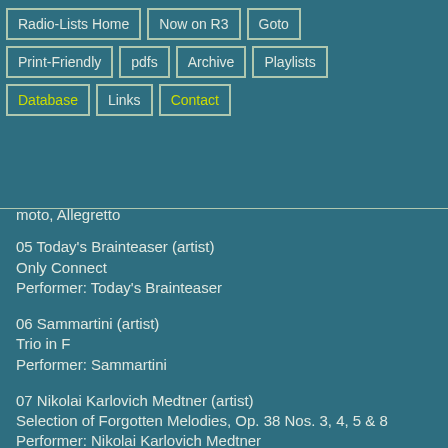Radio-Lists Home
Now on R3
Goto
Print-Friendly
pdfs
Archive
Playlists
Database
Links
Contact
moto, Allegretto
05 Today's Brainteaser (artist)
Only Connect
Performer: Today's Brainteaser
06 Sammartini (artist)
Trio in F
Performer: Sammartini
07 Nikolai Karlovich Medtner (artist)
Selection of Forgotten Melodies, Op. 38 Nos. 3, 4, 5 & 8
Performer: Nikolai Karlovich Medtner
08 Camille Saint-Saëns
Le Rouet d'Omphale op 31